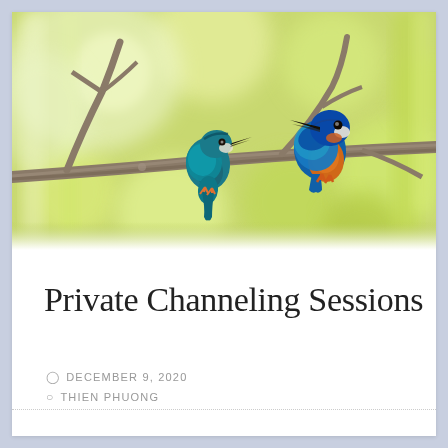[Figure (photo): Two kingfisher birds perched on a bare branch against a blurred yellow-green bokeh background. The bird on the left is smaller with teal-blue plumage, and the bird on the right is larger with vivid blue upper parts and an orange-rust breast. They appear to be looking at each other.]
Private Channeling Sessions
DECEMBER 9, 2020
THIEN PHUONG